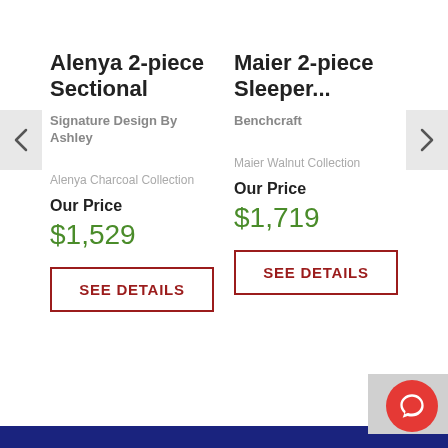Alenya 2-piece Sectional
Signature Design By Ashley
Alenya Charcoal Collection
Our Price
$1,529
SEE DETAILS
Maier 2-piece Sleeper...
Benchcraft
Maier Walnut Collection
Our Price
$1,719
SEE DETAILS